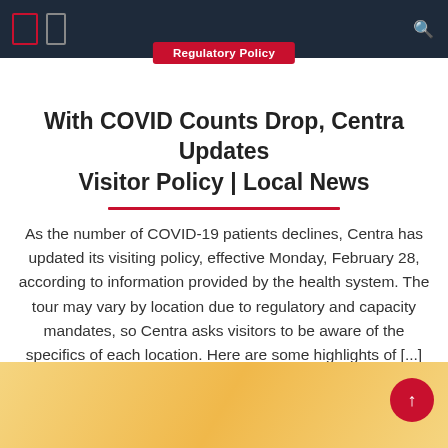Regulatory Policy
With COVID Counts Drop, Centra Updates Visitor Policy | Local News
As the number of COVID-19 patients declines, Centra has updated its visiting policy, effective Monday, February 28, according to information provided by the health system. The tour may vary by location due to regulatory and capacity mandates, so Centra asks visitors to be aware of the specifics of each location. Here are some highlights of [...]
February 26, 2022   Tabitha R. Stephens   Comments Off
[Figure (photo): Warm golden gradient background at bottom of page]